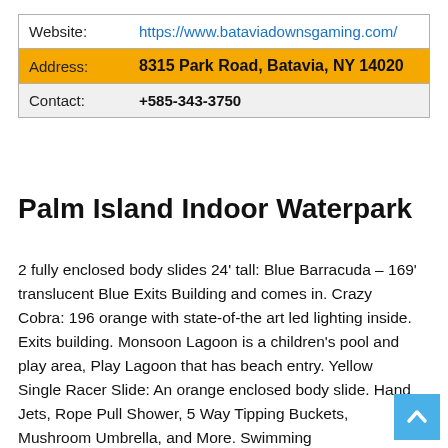| Label | Value |
| --- | --- |
| Website: | https://www.bataviadownsgaming.com/ |
| Address: | 8315 Park Road, Batavia, NY 14020 |
| Contact: | +585-343-3750 |
Palm Island Indoor Waterpark
2 fully enclosed body slides 24' tall: Blue Barracuda – 169' translucent Blue Exits Building and comes in. Crazy Cobra: 196 orange with state-of-the art led lighting inside. Exits building. Monsoon Lagoon is a children's pool and play area, Play Lagoon that has beach entry. Yellow Single Racer Slide: An orange enclosed body slide. Hand Jets, Rope Pull Shower, 5 Way Tipping Buckets, Mushroom Umbrella, and More. Swimming Lagoon:Basketball Hoop and Underwater Lighted Pool, with waterfall, and Underwater Lighted hot tub.